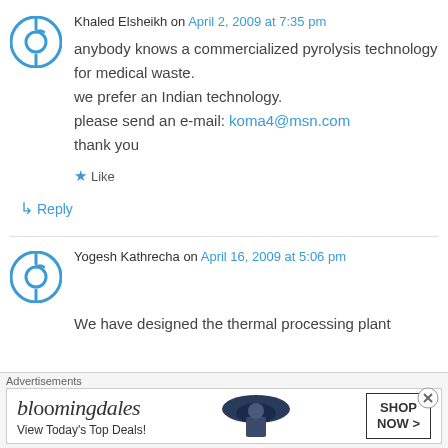Khaled Elsheikh on April 2, 2009 at 7:35 pm
anybody knows a commercialized pyrolysis technology for medical waste.
we prefer an Indian technology.
please send an e-mail: koma4@msn.com
thank you
★ Like
↳ Reply
Yogesh Kathrecha on April 16, 2009 at 5:06 pm
We have designed the thermal processing plant
[Figure (other): Bloomingdales advertisement banner with hat image and 'View Today's Top Deals!' text and 'SHOP NOW >' button]